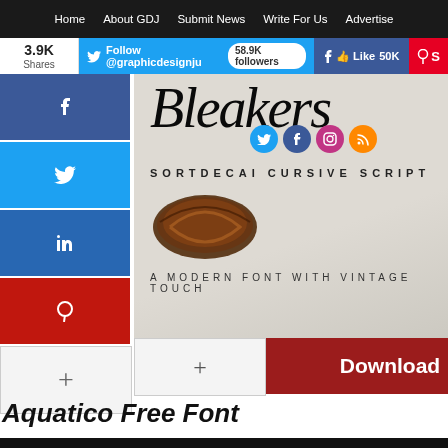Home | About GDJ | Submit News | Write For Us | Advertise
3.9K Shares | Follow @graphicdesignju | 58.9K followers | Like 50K
[Figure (screenshot): Font preview image showing cursive/script text reading 'Bleakers' with 'SORTDECAI CURSIVE SCRIPT' subtitle and 'A MODERN FONT WITH VINTAGE TOUCH' tagline, along with decorative rope/twine prop and social media icons]
Download
Aquatico Free Font